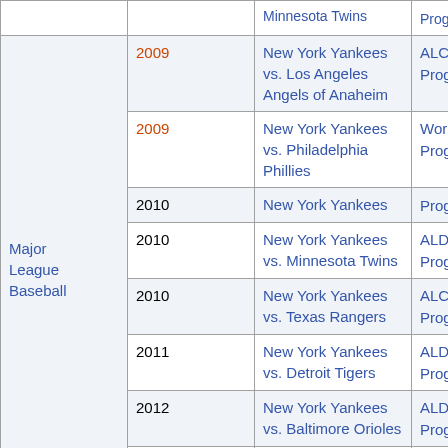| Sport | Year | Event | Program |
| --- | --- | --- | --- |
| Major League Baseball | 2009 | New York Yankees vs. Los Angeles Angels of Anaheim | ALCS Program |
| Major League Baseball | 2009 | New York Yankees vs. Philadelphia Phillies | World Series Program |
| Major League Baseball | 2010 | New York Yankees | Program |
| Major League Baseball | 2010 | New York Yankees vs. Minnesota Twins | ALDS Program |
| Major League Baseball | 2010 | New York Yankees vs. Texas Rangers | ALCS Program |
| Major League Baseball | 2011 | New York Yankees vs. Detroit Tigers | ALDS Program |
| Major League Baseball | 2012 | New York Yankees vs. Baltimore Orioles | ALDS Program |
| Major League Baseball | 2012 | New York Yankees vs. Detroit Tigers | ALCS Program |
| College football | December 29, 2012 | 2012 Pinstripe Bowl (Syracuse Orange vs. West Virginia Mountaineers) | Program |